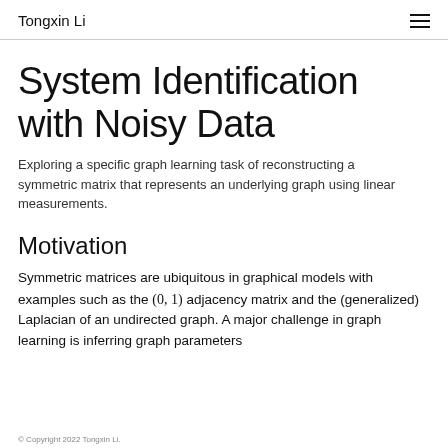Tongxin Li
System Identification with Noisy Data
Exploring a specific graph learning task of reconstructing a symmetric matrix that represents an underlying graph using linear measurements.
Motivation
Symmetric matrices are ubiquitous in graphical models with examples such as the (0, 1) adjacency matrix and the (generalized) Laplacian of an undirected graph. A major challenge in graph learning is inferring graph parameters
© Copyright 2022 Tongxin Li.